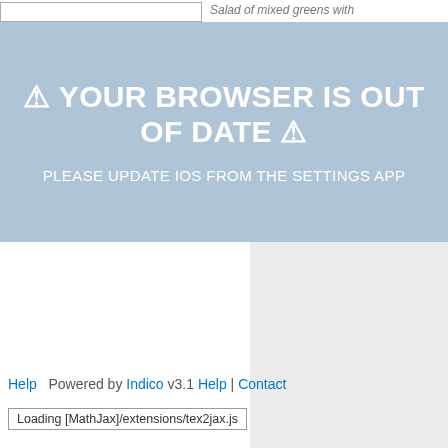Salad of mixed greens with
⚠ YOUR BROWSER IS OUT OF DATE ⚠
PLEASE UPDATE IOS FROM THE SETTINGS APP
Tickets for this dinner are $63... opportunity to make your entr... restrictions, please contact C...
The excursion to Chicago, sch...
Help  Powered by Indico v3.1 Help | Contact
Loading [MathJax]/extensions/tex2jax.js